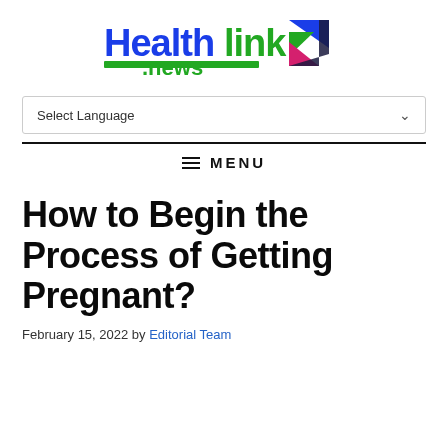[Figure (logo): Healthlink.news logo with blue 'Health', green 'link', green underline bar, and '.news' text, with a geometric multi-colored arrow icon to the right]
Select Language
MENU
How to Begin the Process of Getting Pregnant?
February 15, 2022 by Editorial Team